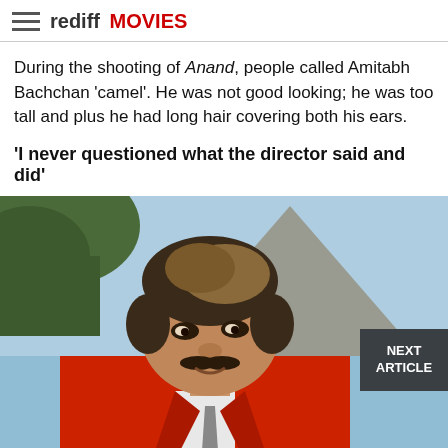rediff MOVIES
During the shooting of Anand, people called Amitabh Bachchan 'camel'. He was not good looking; he was too tall and plus he had long hair covering both his ears.
'I never questioned what the director said and did'
[Figure (photo): Amitabh Bachchan in a red blazer with long hair, outdoors with trees and blue sky background. A 'NEXT ARTICLE' button overlay appears at bottom right.]